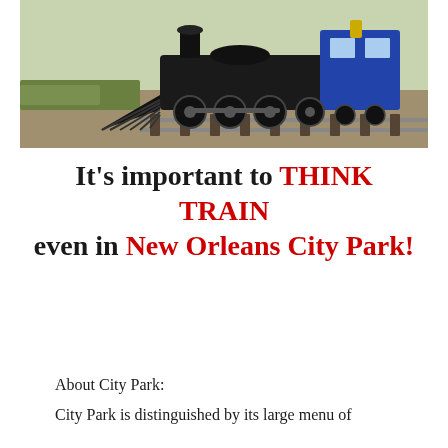[Figure (photo): A black steam locomotive with blue accents and a cow-catcher/pilot at the front, sitting on tracks surrounded by grass and gravel.]
It’s important to THINK TRAIN even in New Orleans City Park!
About City Park:
City Park is distinguished by its large menu of